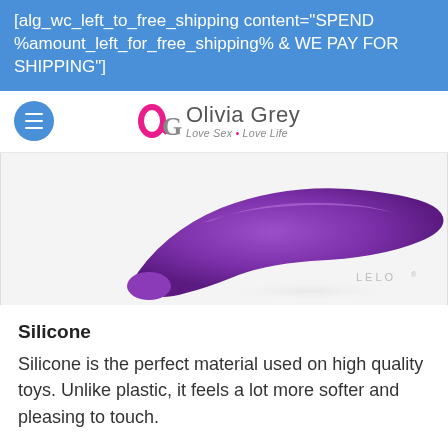[alg_wc_left_to_free_shipping content="SPEND %amount_left_for_free_shipping% & WE PAY FOR SHIPPING"]
[Figure (logo): Olivia Grey logo with pink/magenta OG monogram and tagline 'Love Sex • Love Life']
[Figure (photo): Purple silicone LELO vibrator product photo on white background, with LELO watermark]
Silicone
Silicone is the perfect material used on high quality toys. Unlike plastic, it feels a lot more softer and pleasing to touch.